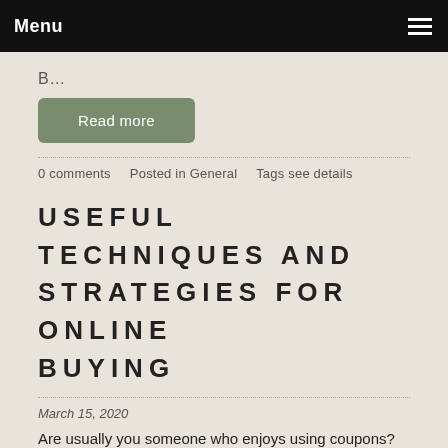Menu
B…
Read more
0 comments   Posted in General   Tags see details
USEFUL TECHNIQUES AND STRATEGIES FOR ONLINE BUYING
March 15, 2020
Are usually you someone who enjoys using coupons? Each 7 days Can you look over flyers? Do you enjoy looking for great deals? Had been you aware that you